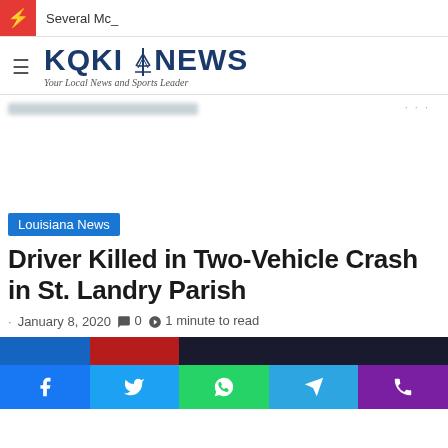⚡ Several Mc_
[Figure (logo): KQKI NEWS logo with tagline 'Your Local News and Sports Leader']
[Figure (other): Blurred advertisement or image placeholder bar]
Louisiana News
Driver Killed in Two-Vehicle Crash in St. Landry Parish
· January 8, 2020  💬 0  🏷 1 minute to read
[Figure (photo): Partial article header image, dark tones]
Facebook Twitter WhatsApp Telegram Phone social share bar